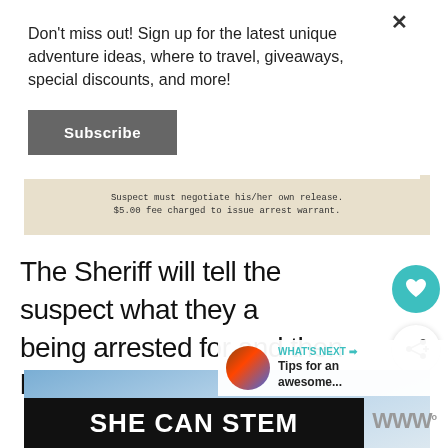Don't miss out! Sign up for the latest unique adventure ideas, where to travel, giveaways, special discounts, and more!
[Figure (screenshot): Subscribe button on a white popup overlay]
[Figure (photo): Document strip showing text: Suspect must negotiate his/her own release. $5.00 fee charged to issue arrest warrant.]
The Sheriff will tell the suspect what they are being arrested for and then bring them to ja...
[Figure (screenshot): What's Next panel: Tips for an awesome...]
[Figure (photo): Sky background image below article text]
[Figure (infographic): SHE CAN STEM banner with white text on black background]